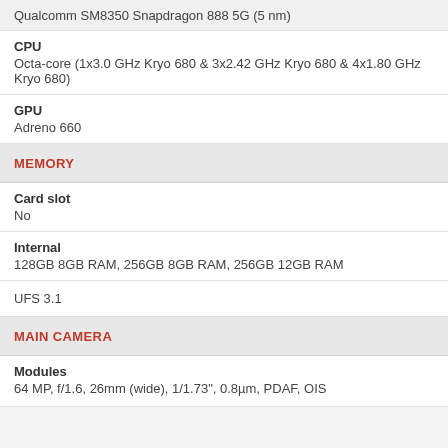Qualcomm SM8350 Snapdragon 888 5G (5 nm)
CPU
Octa-core (1x3.0 GHz Kryo 680 & 3x2.42 GHz Kryo 680 & 4x1.80 GHz Kryo 680)
GPU
Adreno 660
MEMORY
Card slot
No
Internal
128GB 8GB RAM, 256GB 8GB RAM, 256GB 12GB RAM
UFS 3.1
MAIN CAMERA
Modules
64 MP, f/1.6, 26mm (wide), 1/1.73", 0.8µm, PDAF, OIS